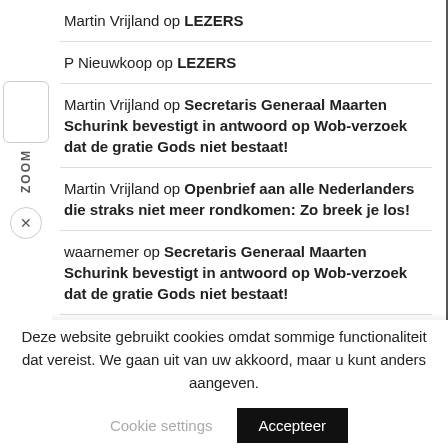Martin Vrijland op LEZERS
P Nieuwkoop op LEZERS
Martin Vrijland op Secretaris Generaal Maarten Schurink bevestigt in antwoord op Wob-verzoek dat de gratie Gods niet bestaat!
Martin Vrijland op Openbrief aan alle Nederlanders die straks niet meer rondkomen: Zo breek je los!
waarnemer op Secretaris Generaal Maarten Schurink bevestigt in antwoord op Wob-verzoek dat de gratie Gods niet bestaat!
Deze website gebruikt cookies omdat sommige functionaliteit dat vereist. We gaan uit van uw akkoord, maar u kunt anders aangeven.